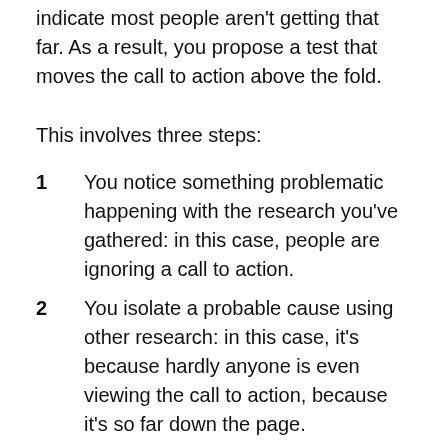indicate most people aren't getting that far. As a result, you propose a test that moves the call to action above the fold.
This involves three steps:
1 You notice something problematic happening with the research you've gathered: in this case, people are ignoring a call to action.
2 You isolate a probable cause using other research: in this case, it's because hardly anyone is even viewing the call to action, because it's so far down the page.
3 Finally, you create an action that should address the problem: moving the call to